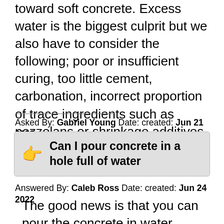toward soft concrete. Excess water is the biggest culprit but we also have to consider the following; poor or insufficient curing, too little cement, carbonation, incorrect proportion of trace ingredients such as pozzolans or shrinkage additives.
Asked By: Gabriel Young Date: created: Jun 21 2022
Can I pour concrete in a hole full of water
Answered By: Caleb Ross Date: created: Jun 24 2022
The good news is that you can pour the concrete in water. … The biggest issue with pouring concrete under water is movement. If the water is moving, it can wash away the cement paste that's